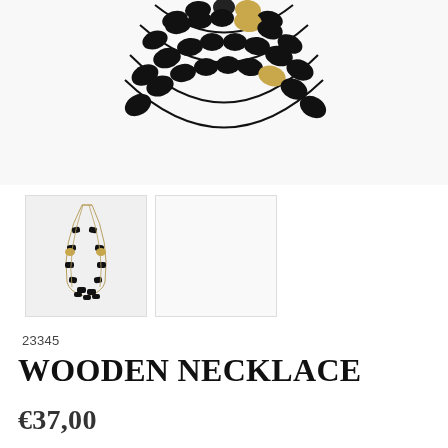[Figure (photo): Close-up photo of a black and gold multi-strand wooden bead necklace on white background, showing the top portion of the necklace with black faceted beads and gold accent beads]
[Figure (photo): Small thumbnail photo of the complete wooden necklace showing multiple strands of black and gold beads draped together]
23345
WOODEN NECKLACE
€37,00